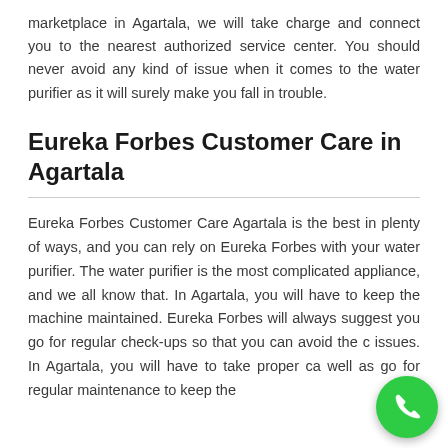marketplace in Agartala, we will take charge and connect you to the nearest authorized service center. You should never avoid any kind of issue when it comes to the water purifier as it will surely make you fall in trouble.
Eureka Forbes Customer Care in Agartala
Eureka Forbes Customer Care Agartala is the best in plenty of ways, and you can rely on Eureka Forbes with your water purifier. The water purifier is the most complicated appliance, and we all know that. In Agartala, you will have to keep the machine maintained. Eureka Forbes will always suggest you go for regular check-ups so that you can avoid the c issues. In Agartala, you will have to take proper ca well as go for regular maintenance to keep the
[Figure (other): Green circular phone/call button in bottom right corner]